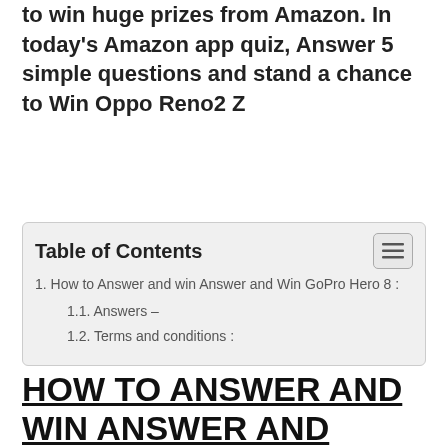to win huge prizes from Amazon. In today's Amazon app quiz, Answer 5 simple questions and stand a chance to Win Oppo Reno2 Z
Table of Contents
1. How to Answer and win Answer and Win GoPro Hero 8 :
1.1. Answers –
1.2. Terms and conditions :
HOW TO ANSWER AND WIN ANSWER AND